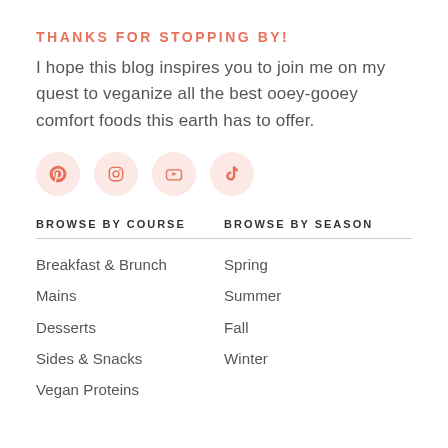THANKS FOR STOPPING BY!
I hope this blog inspires you to join me on my quest to veganize all the best ooey-gooey comfort foods this earth has to offer.
[Figure (illustration): Four social media icons (Pinterest, Instagram, YouTube, TikTok) in pink circles]
BROWSE BY COURSE
Breakfast & Brunch
Mains
Desserts
Sides & Snacks
Vegan Proteins
BROWSE BY SEASON
Spring
Summer
Fall
Winter